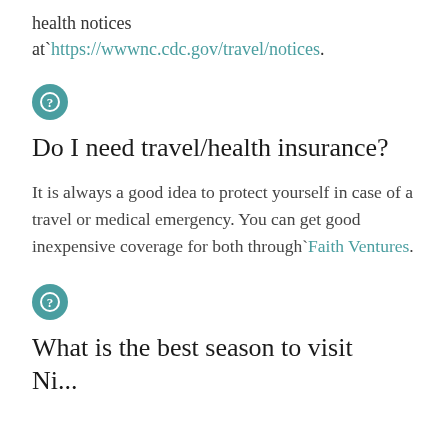health notices at`https://wwwnc.cdc.gov/travel/notices.
Do I need travel/health insurance?
It is always a good idea to protect yourself in case of a travel or medical emergency. You can get good inexpensive coverage for both through`Faith Ventures.
What is the best season to visit Ni...